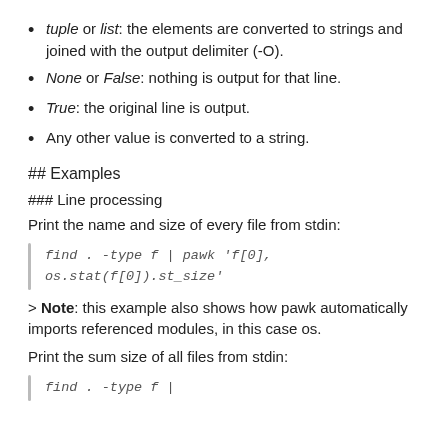tuple or list: the elements are converted to strings and joined with the output delimiter (-O).
None or False: nothing is output for that line.
True: the original line is output.
Any other value is converted to a string.
## Examples
### Line processing
Print the name and size of every file from stdin:
find . -type f | pawk 'f[0], os.stat(f[0]).st_size'
> Note: this example also shows how pawk automatically imports referenced modules, in this case os.
Print the sum size of all files from stdin:
find . -type f |